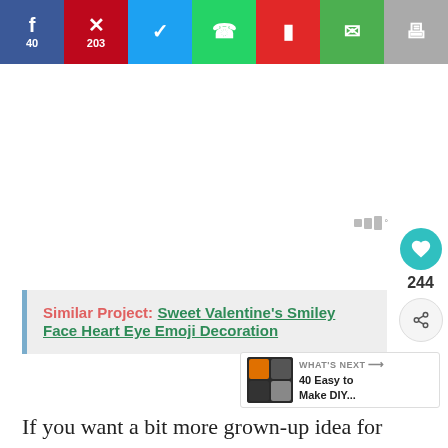[Figure (screenshot): Social share bar with Facebook (40), Pinterest (203), Twitter, WhatsApp, Flipboard, Email, and Print buttons]
Similar Project:  Sweet Valentine's Smiley Face Heart Eye Emoji Decoration
244
WHAT'S NEXT → 40 Easy to Make DIY...
If you want a bit more grown-up idea for